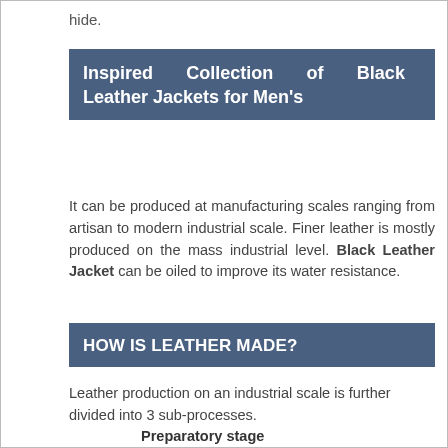hide.
Inspired Collection of Black Leather Jackets for Men’s
It can be produced at manufacturing scales ranging from artisan to modern industrial scale. Finer leather is mostly produced on the mass industrial level. Black Leather Jacket can be oiled to improve its water resistance.
HOW IS LEATHER MADE?
Leather production on an industrial scale is further divided into 3 sub-processes.
Preparatory stage